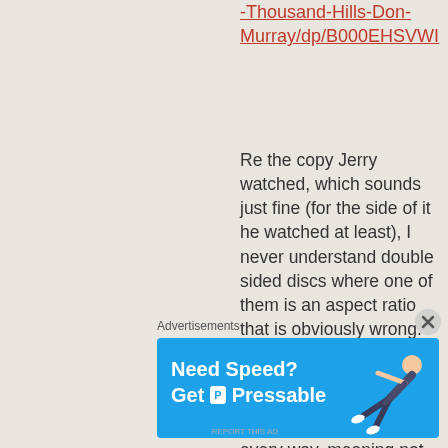-Thousand-Hills-Don-Murray/dp/B000EHSVWI
Re the copy Jerry watched, which sounds just fine (for the side of it he watched at least), I never understand double sided discs where one of them is an aspect ratio that is obviously wrong. Cinemascope movies should not be seen flat/full frame–they are destroyed by that in every way, meaning not only visually for composition but
Advertisements
[Figure (other): Advertisement banner for Pressable web hosting with blue background. Text reads 'Need Speed? Get Pressable' with a figure of a person diving/flying.]